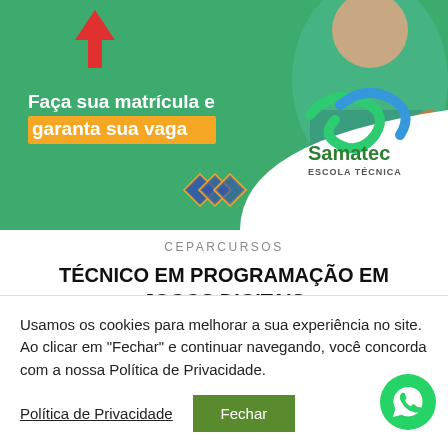[Figure (photo): Promotional banner with green background, person wearing teal shirt on the right, red arrow at top, text 'Faça sua matrícula e garanta sua vaga', and Samatec Escola Técnica logo with diamond icons]
CEPARCURSOS
TÉCNICO EM PROGRAMAÇÃO EM JOGOS DIGITAIS
Usamos os cookies para melhorar a sua experiência no site. Ao clicar em "Fechar" e continuar navegando, você concorda com a nossa Política de Privacidade.
Política de Privacidade
Fechar